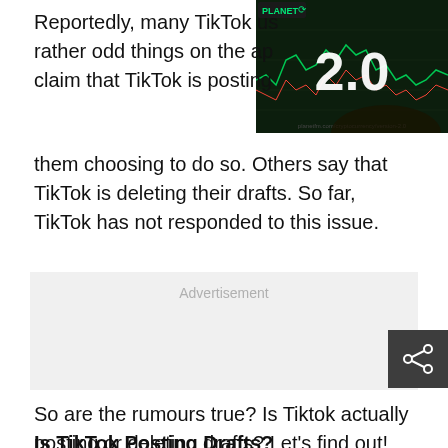Reportedly, many TikTok users are seeing rather odd things on the app. Some claim that TikTok is posting without them choosing to do so. Others say that TikTok is deleting their drafts. So far, TikTok has not responded to this issue.
[Figure (screenshot): Screenshot of a stock trading chart on a monitor displaying '2.0' in large white text, with green and red candlestick patterns visible. A 'Planet' logo appears in the top-left corner of the screenshot.]
Advertisement
So are the rumours true? Is Tiktok actually posting or deleting drafts? Let's find out!
Is TikTok Posting Drafts?